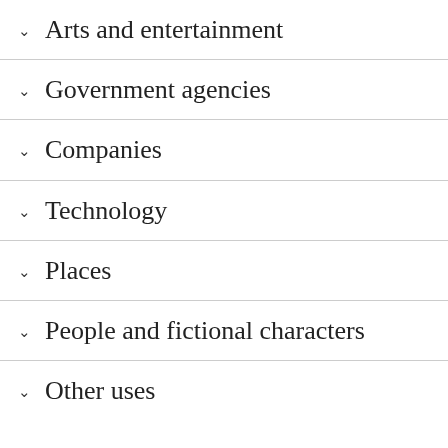Arts and entertainment
Government agencies
Companies
Technology
Places
People and fictional characters
Other uses